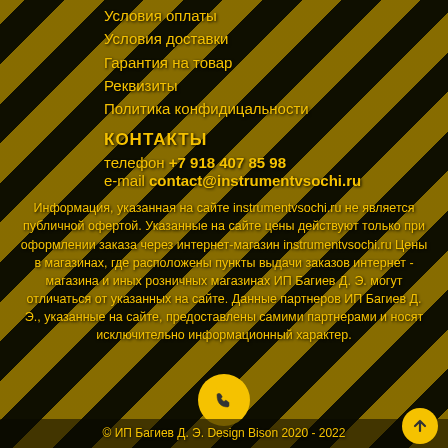Условия оплаты
Условия доставки
Гарантия на товар
Реквизиты
Политика конфидицальности
КОНТАКТЫ
телефон  +7 918 407 85 98
e-mail  contact@instrumentvsochi.ru
Информация, указанная на сайте instrumentvsochi.ru не является публичной офертой. Указанные на сайте цены действуют только при оформлении заказа через интернет-магазин instrumentvsochi.ru Цены в магазинах, где расположены пункты выдачи заказов интернет - магазина и иных розничных магазинах ИП Багиев Д. Э. могут отличаться от указанных на сайте. Данные партнеров ИП Багиев Д. Э., указанные на сайте, предоставлены самими партнерами и носят исключительно информационный характер.
© ИП Багиев Д. Э. Design Bison 2020 - 2022